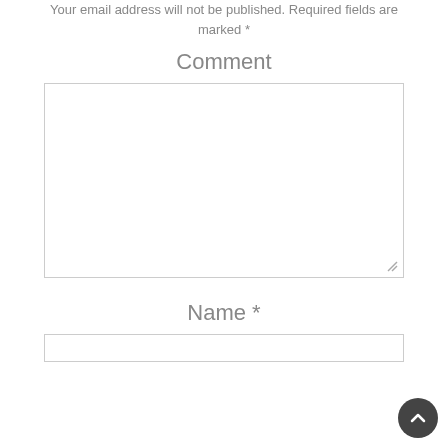Your email address will not be published. Required fields are marked *
Comment
[Figure (other): Empty textarea input box for comments]
Name *
[Figure (other): Empty text input box for name]
[Figure (other): Back to top circular dark button with upward chevron arrow]